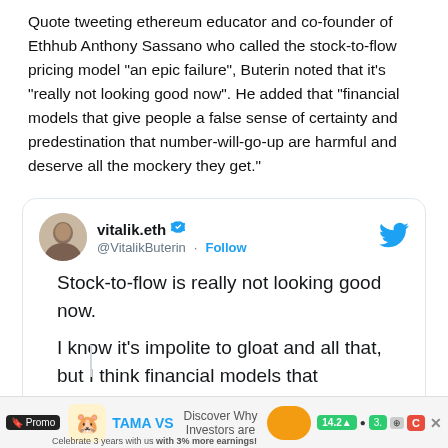Quote tweeting ethereum educator and co-founder of Ethhub Anthony Sassano who called the stock-to-flow pricing model "an epic failure", Buterin noted that it's "really not looking good now". He added that "financial models that give people a false sense of certainty and predestination that number-will-go-up are harmful and deserve all the mockery they get."
[Figure (screenshot): Screenshot of a tweet by vitalik.eth (@VitalikButerin) with a Follow button and Twitter bird icon. Tweet text reads: 'Stock-to-flow is really not looking good now. I know it's impolite to gloat and all that, but I think financial models that' (truncated). Below is an advertisement bar for TAMA VS with promo text.]